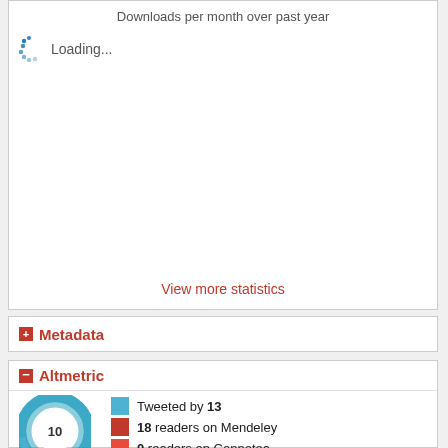[Figure (other): Downloads per month over past year chart area showing a loading spinner with 'Loading...' text]
View more statistics
Metadata
Altmetric
[Figure (other): Altmetric donut badge showing score of 10]
Tweeted by 13
18 readers on Mendeley
0 readers on Connotea
readers on CiteULike